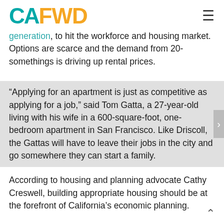CAFWD
generation, to hit the workforce and housing market. Options are scarce and the demand from 20-somethings is driving up rental prices.
“Applying for an apartment is just as competitive as applying for a job,” said Tom Gatta, a 27-year-old living with his wife in a 600-square-foot, one-bedroom apartment in San Francisco. Like Driscoll, the Gattas will have to leave their jobs in the city and go somewhere they can start a family.
According to housing and planning advocate Cathy Creswell, building appropriate housing should be at the forefront of California’s economic planning.
“I don’t think you can be concerned about the economy of California without being concerned with